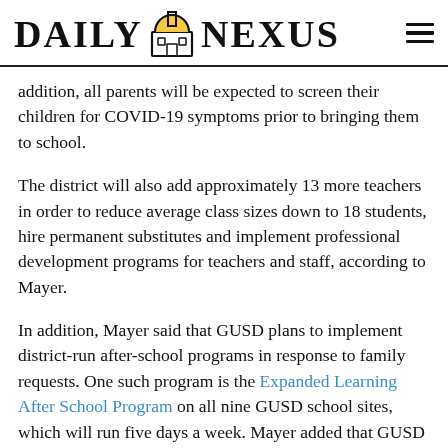DAILY NEXUS
addition, all parents will be expected to screen their children for COVID-19 symptoms prior to bringing them to school.
The district will also add approximately 13 more teachers in order to reduce average class sizes down to 18 students, hire permanent substitutes and implement professional development programs for teachers and staff, according to Mayer.
In addition, Mayer said that GUSD plans to implement district-run after-school programs in response to family requests. One such program is the Expanded Learning After School Program on all nine GUSD school sites, which will run five days a week. Mayer added that GUSD is also coordinating with the Isla Vista Youth Projects to